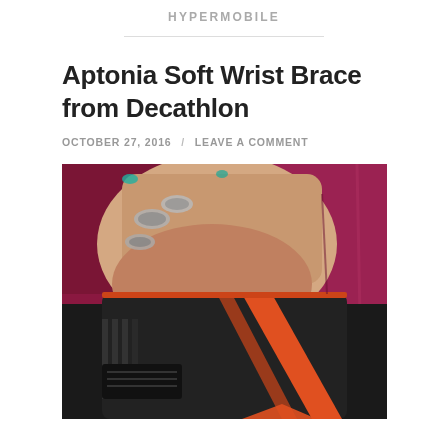HYPERMOBILE
Aptonia Soft Wrist Brace from Decathlon
OCTOBER 27, 2016  /  LEAVE A COMMENT
[Figure (photo): Close-up photo of a hand wearing a black and orange soft wrist brace (Aptonia), with silver rings on the fingers, resting against a magenta/burgundy fabric background.]